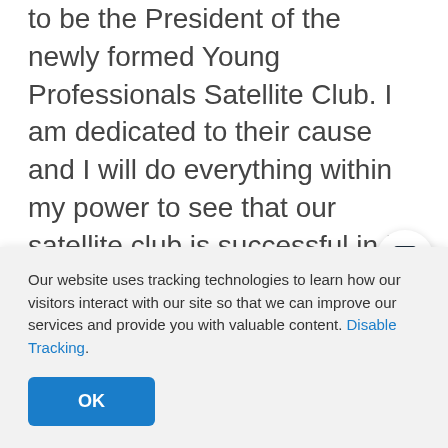to be the President of the newly formed Young Professionals Satellite Club. I am dedicated to their cause and I will do everything within my power to see that our satellite club is successful in its efforts to make a lasting impact on our community.
My family's golf tournament and scholarship fund would have stopped long ago if it were not for the help of the local Kiwanis chapter,
Our website uses tracking technologies to learn how our visitors interact with our site so that we can improve our services and provide you with valuable content. Disable Tracking.